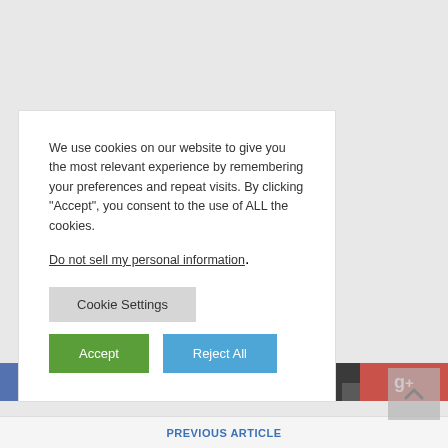We use cookies on our website to give you the most relevant experience by remembering your preferences and repeat visits. By clicking "Accept", you consent to the use of ALL the cookies.
Do not sell my personal information.
Cookie Settings
Accept
Reject All
[Figure (other): Social share bar with Facebook (blue), Twitter (light blue), More (dark gray), and Google+ (red) buttons]
PREVIOUS ARTICLE